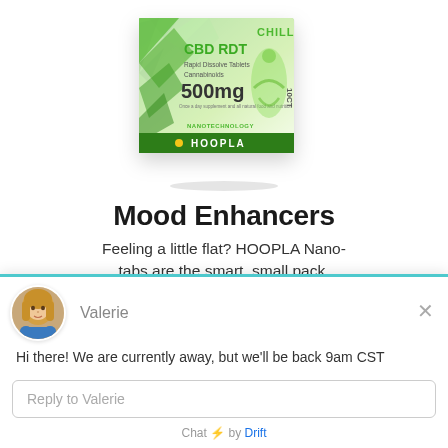[Figure (photo): Product box of HOOPLA CHILL CBD RDT Rapid Dissolve Tablets Cannabinoids 500mg, 10CT, with green geometric diamond background and meditating figure silhouette.]
Mood Enhancers
Feeling a little flat? HOOPLA Nano-tabs are the smart, small pack,
Valerie
Hi there! We are currently away, but we'll be back 9am CST
Reply to Valerie
Chat ⚡ by Drift